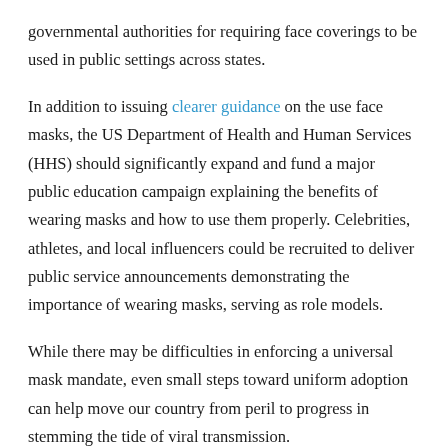governmental authorities for requiring face coverings to be used in public settings across states.
In addition to issuing clearer guidance on the use face masks, the US Department of Health and Human Services (HHS) should significantly expand and fund a major public education campaign explaining the benefits of wearing masks and how to use them properly. Celebrities, athletes, and local influencers could be recruited to deliver public service announcements demonstrating the importance of wearing masks, serving as role models.
While there may be difficulties in enforcing a universal mask mandate, even small steps toward uniform adoption can help move our country from peril to progress in stemming the tide of viral transmission.